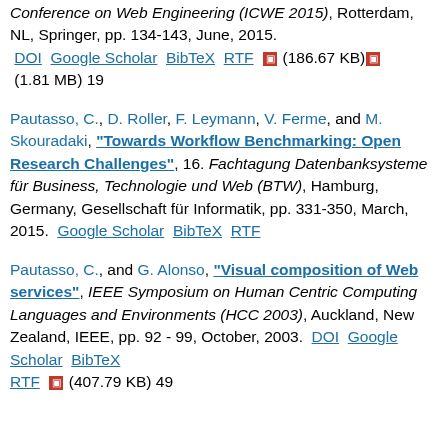Conference on Web Engineering (ICWE 2015), Rotterdam, NL, Springer, pp. 134-143, June, 2015. DOI Google Scholar BibTeX RTF [icon] (186.67 KB) [icon] (1.81 MB) 19
Pautasso, C., D. Roller, F. Leymann, V. Ferme, and M. Skouradaki, "Towards Workflow Benchmarking: Open Research Challenges", 16. Fachtagung Datenbanksysteme für Business, Technologie und Web (BTW), Hamburg, Germany, Gesellschaft für Informatik, pp. 331-350, March, 2015. Google Scholar BibTeX RTF
Pautasso, C., and G. Alonso, "Visual composition of Web services", IEEE Symposium on Human Centric Computing Languages and Environments (HCC 2003), Auckland, New Zealand, IEEE, pp. 92 - 99, October, 2003. DOI Google Scholar BibTeX RTF [icon] (407.79 KB) 49